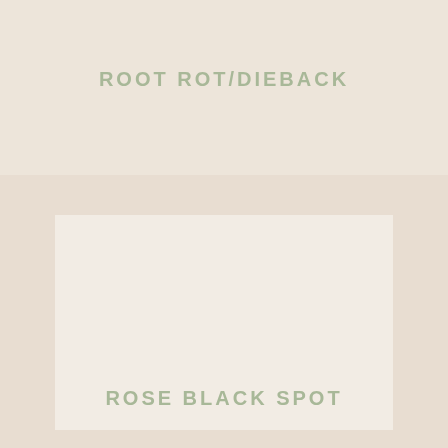ROOT ROT/DIEBACK
[Figure (other): Large light-colored rectangular region with an inner lighter square, serving as a background layout element or image placeholder]
ROSE BLACK SPOT